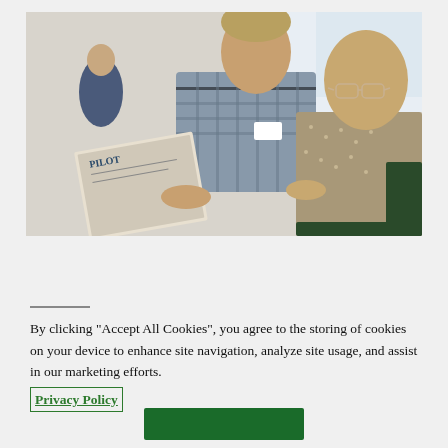[Figure (photo): Two men looking at a magazine or photo album together. An older man wearing glasses and a patterned sweater sits in a chair while a younger man in a plaid shirt leans over to look with him. Indoor setting with bright window light in background.]
By clicking “Accept All Cookies”, you agree to the storing of cookies on your device to enhance site navigation, analyze site usage, and assist in our marketing efforts.
Privacy Policy